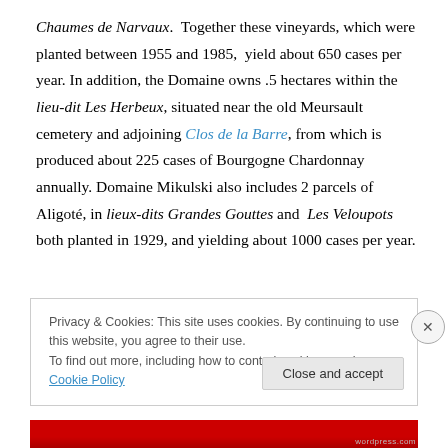Chaumes de Narvaux.  Together these vineyards, which were planted between 1955 and 1985,  yield about 650 cases per year. In addition, the Domaine owns .5 hectares within the lieu-dit Les Herbeux, situated near the old Meursault cemetery and adjoining Clos de la Barre, from which is produced about 225 cases of Bourgogne Chardonnay annually. Domaine Mikulski also includes 2 parcels of Aligoté, in lieux-dits Grandes Gouttes and  Les Veloupots both planted in 1929, and yielding about 1000 cases per year.
Privacy & Cookies: This site uses cookies. By continuing to use this website, you agree to their use.
To find out more, including how to control cookies, see here: Cookie Policy